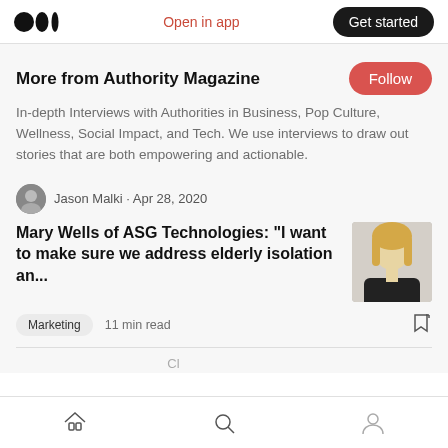Medium logo | Open in app | Get started
More from Authority Magazine
In-depth Interviews with Authorities in Business, Pop Culture, Wellness, Social Impact, and Tech. We use interviews to draw out stories that are both empowering and actionable.
Jason Malki · Apr 28, 2020
Mary Wells of ASG Technologies: “I want to make sure we address elderly isolation an...
Marketing  11 min read
Cl...
Home | Search | Profile